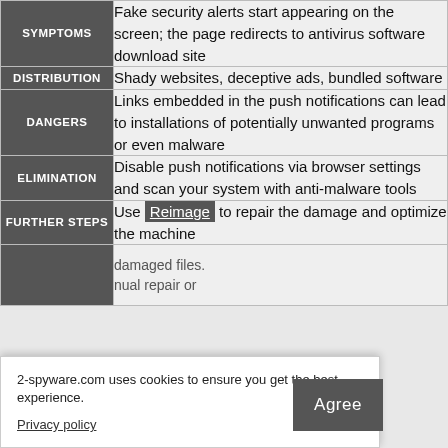| Category | Description |
| --- | --- |
| SYMPTOMS | Fake security alerts start appearing on the screen; the page redirects to antivirus software download site |
| DISTRIBUTION | Shady websites, deceptive ads, bundled software |
| DANGERS | Links embedded in the push notifications can lead to installations of potentially unwanted programs or even malware |
| ELIMINATION | Disable push notifications via browser settings and scan your system with anti-malware tools |
| FURTHER STEPS | Use Reimage to repair the damage and optimize the machine |
2-spyware.com uses cookies to ensure you get the best experience.
Privacy policy
Agree